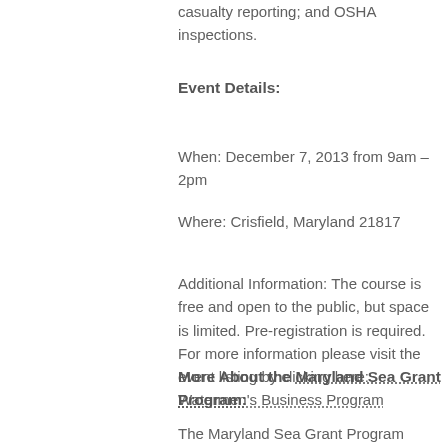casualty reporting; and OSHA inspections.
Event Details:
When: December 7, 2013 from 9am – 2pm
Where: Crisfield, Maryland 21817
Additional Information: The course is free and open to the public, but space is limited. Pre-registration is required.  For more information please visit the event listing by clicking here: Watermen's Business Program
More About the Maryland Sea Grant Program:
The Maryland Sea Grant Program